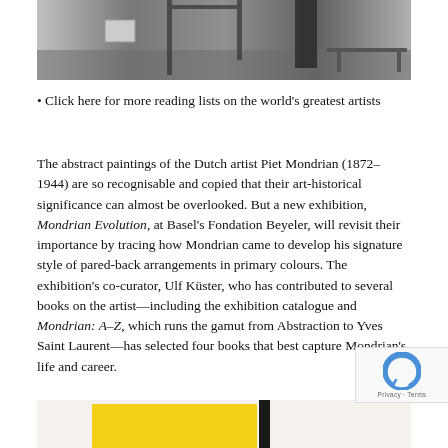[Figure (photo): Black and white photograph of an interior space with geometric furniture and a person standing, showing Mondrian-style design elements]
• Click here for more reading lists on the world's greatest artists
The abstract paintings of the Dutch artist Piet Mondrian (1872–1944) are so recognisable and copied that their art-historical significance can almost be overlooked. But a new exhibition, Mondrian Evolution, at Basel's Fondation Beyeler, will revisit their importance by tracing how Mondrian came to develop his signature style of pared-back arrangements in primary colours. The exhibition's co-curator, Ulf Küster, who has contributed to several books on the artist—including the exhibition catalogue and Mondrian: A–Z, which runs the gamut from Abstraction to Yves Saint Laurent—has selected four books that best capture Mondrian's life and career.
[Figure (photo): Partial view of a Mondrian painting with yellow and black blocks on white background]